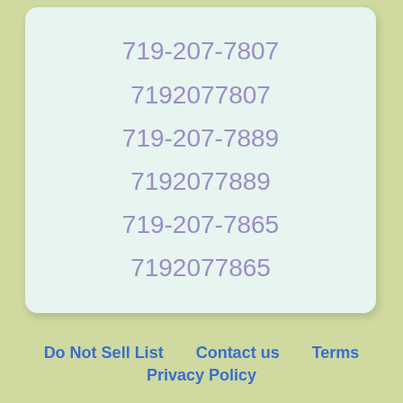719-207-7807
7192077807
719-207-7889
7192077889
719-207-7865
7192077865
Do Not Sell List   Contact us   Terms   Privacy Policy